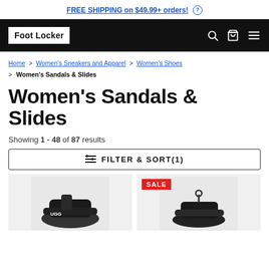FREE SHIPPING on $49.99+ orders! (?)
[Figure (logo): Foot Locker logo in white box on black navigation bar with search, cart, and menu icons]
Home > Women's Sneakers and Apparel > Women's Shoes > Women's Sandals & Slides
Women's Sandals & Slides
Showing 1 - 48 of 87 results
FILTER & SORT(1)
[Figure (photo): UGG black sandal product photo on light gray background]
[Figure (photo): Black shoe product photo on light gray background with SALE badge]